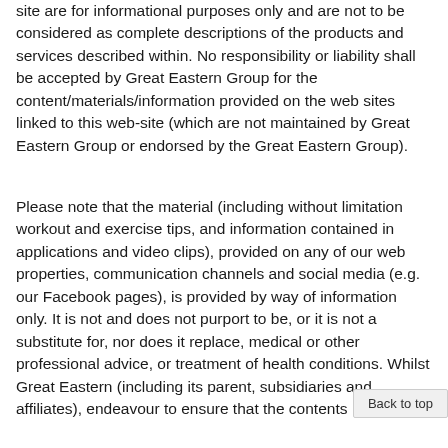site are for informational purposes only and are not to be considered as complete descriptions of the products and services described within. No responsibility or liability shall be accepted by Great Eastern Group for the content/materials/information provided on the web sites linked to this web-site (which are not maintained by Great Eastern Group or endorsed by the Great Eastern Group).
Please note that the material (including without limitation workout and exercise tips, and information contained in applications and video clips), provided on any of our web properties, communication channels and social media (e.g. our Facebook pages), is provided by way of information only. It is not and does not purport to be, or it is not a substitute for, nor does it replace, medical or other professional advice, or treatment of health conditions. Whilst Great Eastern (including its parent, subsidiaries and affiliates), endeavour to ensure that the contents